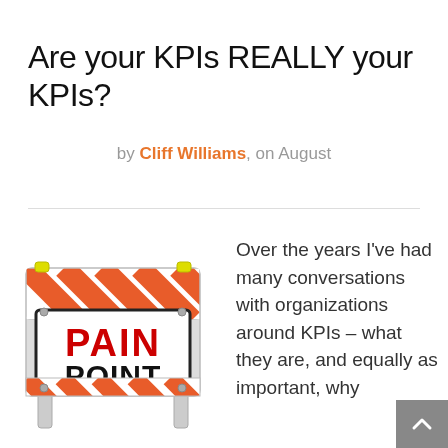Are your KPIs REALLY your KPIs?
by Cliff Williams, on August
[Figure (photo): A road construction barricade with orange and white stripes, featuring a sign that reads 'PAIN POINT' in red and black bold text.]
Over the years I've had many conversations with organizations around KPIs – what they are, and equally as important, why